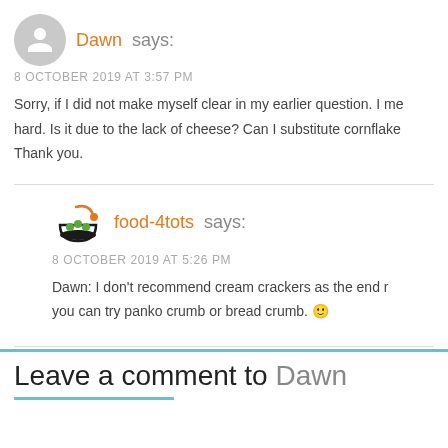Dawn says:
8 OCTOBER 2019 AT 3:57 PM
Sorry, if I did not make myself clear in my earlier question. I me hard. Is it due to the lack of cheese? Can I substitute cornflake Thank you.
[Figure (logo): food-4tots logo: a bowl with green dots and an orange spoon]
food-4tots says:
8 OCTOBER 2019 AT 5:26 PM
Dawn: I don't recommend cream crackers as the end r you can try panko crumb or bread crumb. 🙂
Leave a comment to Dawn